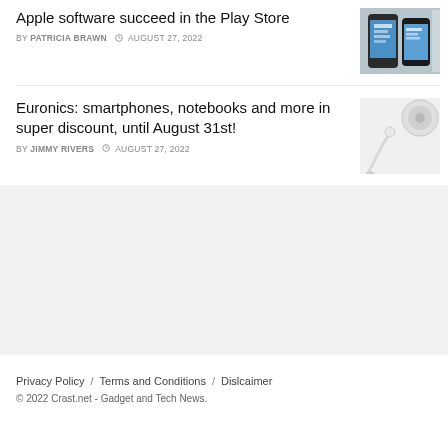Apple software succeed in the Play Store
BY PATRICIA BRAWN  © AUGUST 27, 2022
[Figure (photo): Smartphone showing app interface]
Euronics: smartphones, notebooks and more in super discount, until August 31st!
BY JIMMY RIVERS  © AUGUST 27, 2022
[Figure (photo): White earphones/earbuds on white background]
Privacy Policy  /  Terms and Conditions  /  Dislcaimer
© 2022 Crast.net - Gadget and Tech News.